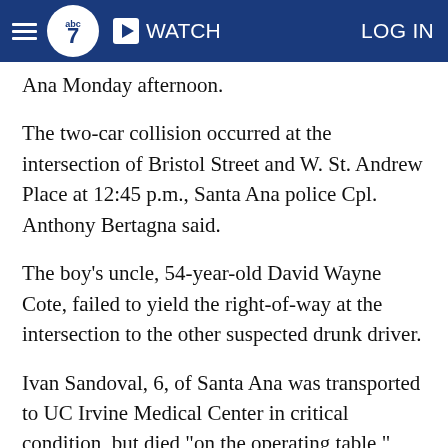ABC7 — WATCH — LOG IN
Ana Monday afternoon.
The two-car collision occurred at the intersection of Bristol Street and W. St. Andrew Place at 12:45 p.m., Santa Ana police Cpl. Anthony Bertagna said.
The boy's uncle, 54-year-old David Wayne Cote, failed to yield the right-of-way at the intersection to the other suspected drunk driver.
Ivan Sandoval, 6, of Santa Ana was transported to UC Irvine Medical Center in critical condition, but died "on the operating table," Bertagna said. He was seated in the front seat of his uncle's BMW and took the brunt of the crash.